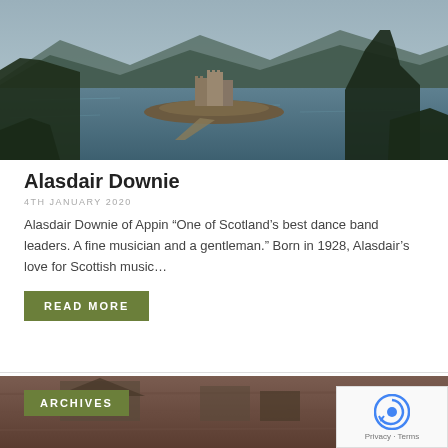[Figure (photo): Aerial/landscape photograph of a Scottish castle on a small island surrounded by a loch, with mountains and trees in the background. Vintage postcard-style colorized photo.]
Alasdair Downie
4TH JANUARY 2020
Alasdair Downie of Appin “One of Scotland’s best dance band leaders. A fine musician and a gentleman.” Born in 1928, Alasdair’s love for Scottish music…
READ MORE
[Figure (photo): Partial view of a second article image showing a wooden deck or pier with buildings in the background, partially obscured.]
ARCHIVES